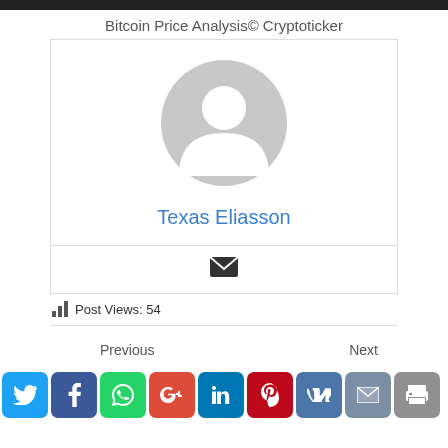Bitcoin Price Analysis© Cryptoticker
[Figure (illustration): Default user avatar placeholder — grey silhouette circle with person shape on white background]
Texas Eliasson
[Figure (other): Email envelope icon]
Post Views: 54
Previous    Next
[Figure (other): Social share buttons: Twitter, Facebook, WhatsApp, Google+, LinkedIn, Pinterest, VK, Email, Print]